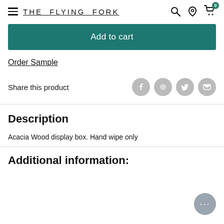THE FLYING FORK
Add to cart
Order Sample
Share this product
Description
Acacia Wood display box. Hand wipe only
Additional information: